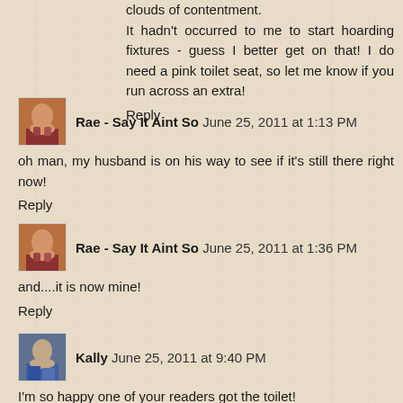clouds of contentment. It hadn't occurred to me to start hoarding fixtures - guess I better get on that! I do need a pink toilet seat, so let me know if you run across an extra!
Reply
Rae - Say It Aint So  June 25, 2011 at 1:13 PM
oh man, my husband is on his way to see if it's still there right now!
Reply
Rae - Say It Aint So  June 25, 2011 at 1:36 PM
and....it is now mine!
Reply
Kally  June 25, 2011 at 9:40 PM
I'm so happy one of your readers got the toilet!